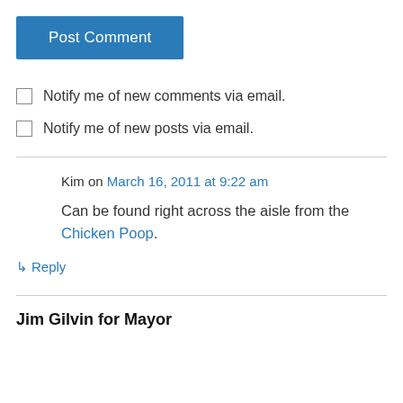Post Comment
Notify me of new comments via email.
Notify me of new posts via email.
Kim on March 16, 2011 at 9:22 am
Can be found right across the aisle from the Chicken Poop.
↳ Reply
Jim Gilvin for Mayor